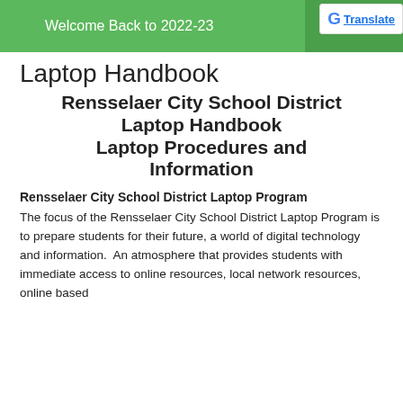Welcome Back to 2022-23   Read more...   G Translate
Laptop Handbook
Rensselaer City School District Laptop Handbook Laptop Procedures and Information
Rensselaer City School District Laptop Program
The focus of the Rensselaer City School District Laptop Program is to prepare students for their future, a world of digital technology and information.  An atmosphere that provides students with immediate access to online resources, local network resources, online based